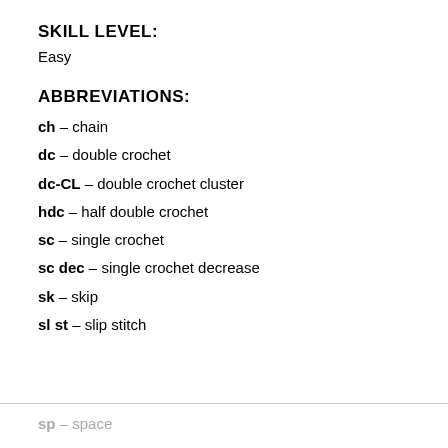SKILL LEVEL:
Easy
ABBREVIATIONS:
ch – chain
dc – double crochet
dc-CL – double crochet cluster
hdc – half double crochet
sc – single crochet
sc dec – single crochet decrease
sk – skip
sl st – slip stitch
sp – space